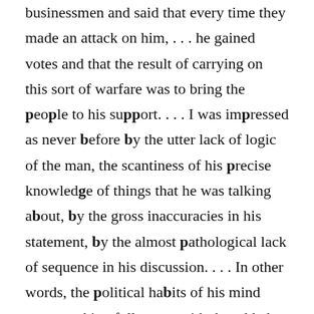launched into a denunciation of bankers and businessmen and said that every time they made an attack on him, . . . he gained votes and that the result of carrying on this sort of warfare was to bring the people to his support. . . . I was impressed as never before by the utter lack of logic of the man, the scantiness of his precise knowledge of things that he was talking about, by the gross inaccuracies in his statement, by the almost pathological lack of sequence in his discussion. . . . In other words, the political habits of his mind were working full steam with the added influence of a swollen ego. My deliberate impression is that he is dangerous in the extreme. . . ."